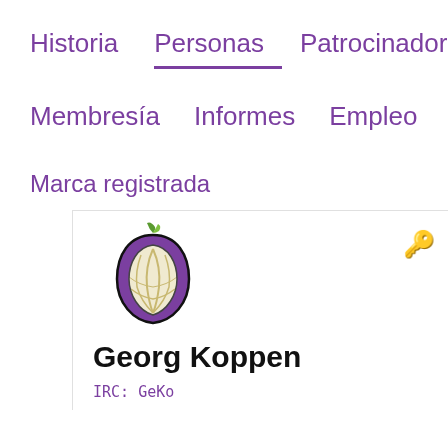Historia   Personas   Patrocinadores
Membresía   Informes   Empleo
Marca registrada
[Figure (logo): Tor Project onion logo — a stylized purple onion with green stem and cream-colored interior lines]
Georg Koppen
IRC:  GeKo